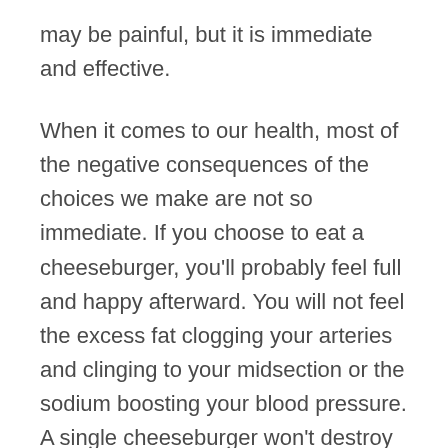may be painful, but it is immediate and effective.
When it comes to our health, most of the negative consequences of the choices we make are not so immediate. If you choose to eat a cheeseburger, you'll probably feel full and happy afterward. You will not feel the excess fat clogging your arteries and clinging to your midsection or the sodium boosting your blood pressure. A single cheeseburger won't destroy your health, but if the majority of your meals come wrapped in paper, you'll feel the effects eventually. Unfortunately, by that time the damage is done and can be difficult to